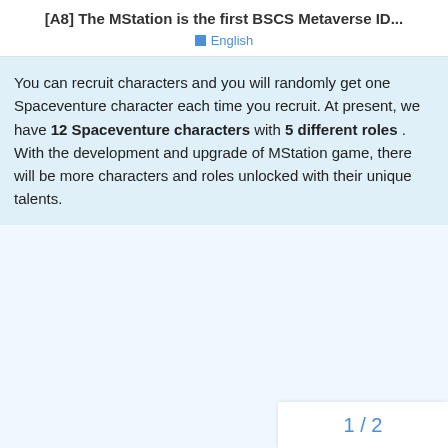[A8] The MStation is the first BSCS Metaverse ID...
English
You can recruit characters and you will randomly get one Spaceventure character each time you recruit. At present, we have 12 Spaceventure characters with 5 different roles . With the development and upgrade of MStation game, there will be more characters and roles unlocked with their unique talents.
1 / 2